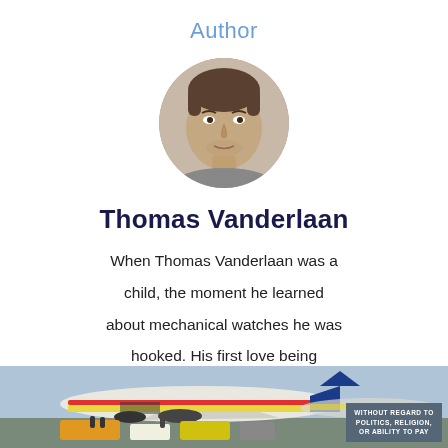Author
[Figure (photo): Circular portrait photo of Thomas Vanderlaan, a young man with short hair and stubble]
Thomas Vanderlaan
When Thomas Vanderlaan was a child, the moment he learned about mechanical watches he was hooked. His first love being mechanical watches, he decided to pursue a career in engineering as he was entranced by the
[Figure (photo): Photo of cargo being loaded onto a Southwest Airlines airplane at an airport, with ground crew and equipment visible]
WITHOUT REGARD TO POLITICS, RELIGION, OR ABILITY TO PAY